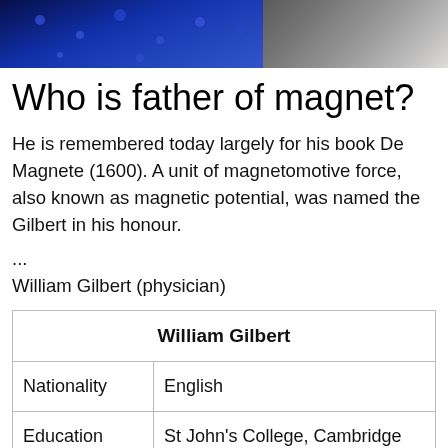[Figure (photo): Top portion of a photo showing a person in a suit against a blue/purple background with bokeh lights]
Who is father of magnet?
He is remembered today largely for his book De Magnete (1600). A unit of magnetomotive force, also known as magnetic potential, was named the Gilbert in his honour.
...
William Gilbert (physician)
| William Gilbert |
| --- |
| Nationality | English |
| Education | St John's College, Cambridge (MD, 1569) |